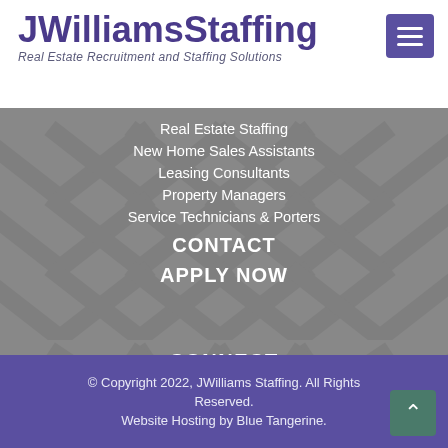JWilliamsStaffing
Real Estate Recruitment and Staffing Solutions
Real Estate Staffing
New Home Sales Assistants
Leasing Consultants
Property Managers
Service Technicians & Porters
CONTACT
APPLY NOW
CONNECT
[Figure (infographic): Social media icons: Facebook, Twitter, LinkedIn, YouTube, Instagram — purple circular buttons]
© Copyright 2022, JWilliams Staffing. All Rights Reserved. Website Hosting by Blue Tangerine.